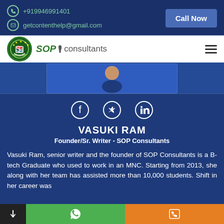+919946991401 | getcontenthelp@gmail.com | Call Now
[Figure (logo): SOP Consultants logo with circular emblem and green text]
[Figure (photo): Profile photo area showing partial view of a person in blue]
[Figure (infographic): Social media icons: Facebook, Twitter, LinkedIn]
VASUKI RAM
Founder/Sr. Writer - SOP Consultants
Vasuki Ram, senior writer and the founder of SOP Consultants is a B-tech Graduate who used to work in an MNC. Starting from 2013, she along with her team has assisted more than 10,000 students. Shift in her career was
WhatsApp | Call